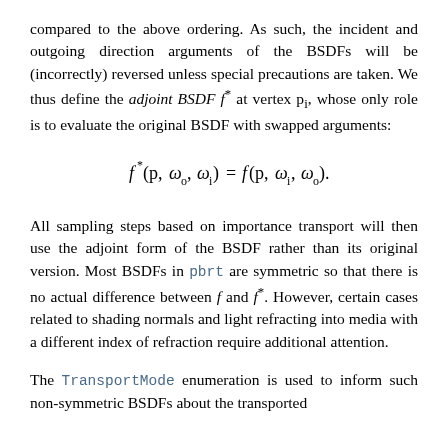compared to the above ordering. As such, the incident and outgoing direction arguments of the BSDFs will be (incorrectly) reversed unless special precautions are taken. We thus define the adjoint BSDF f* at vertex p_i, whose only role is to evaluate the original BSDF with swapped arguments:
All sampling steps based on importance transport will then use the adjoint form of the BSDF rather than its original version. Most BSDFs in pbrt are symmetric so that there is no actual difference between f and f*. However, certain cases related to shading normals and light refracting into media with a different index of refraction require additional attention.
The TransportMode enumeration is used to inform such non-symmetric BSDFs about the transported